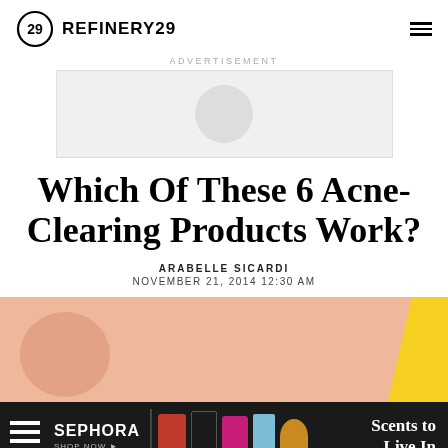REFINERY29
ADVERTISEMENT
[Figure (other): Advertisement placeholder box with circular grey shape]
Which Of These 6 Acne-Clearing Products Work?
ARABELLE SICARDI
NOVEMBER 21, 2014 12:30 AM
[Figure (photo): Peach/salmon colored hero image with yellow geometric shape at right edge]
[Figure (other): Sephora advertisement banner: SEPHORA SHOP NOW with fragrance bottles and text Scents to Live In]